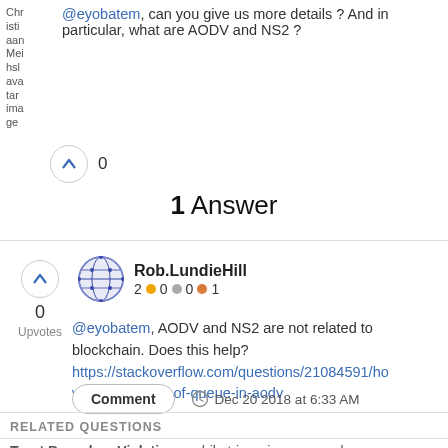@eyobatem, can you give us more details ? And in particular, what are AODV and NS2 ?
0
1 Answer
Rob.LundieHill
2 ● 0 ● 0 ● 1
@eyobatem, AODV and NS2 are not related to blockchain. Does this help?
https://stackoverflow.com/questions/21084591/how-to-get-length-of-queue-in-aodv
Comment
Dec 20 2018 at 6:33 AM
RELATED QUESTIONS
Trust Boundary Violation... while triggering your code...